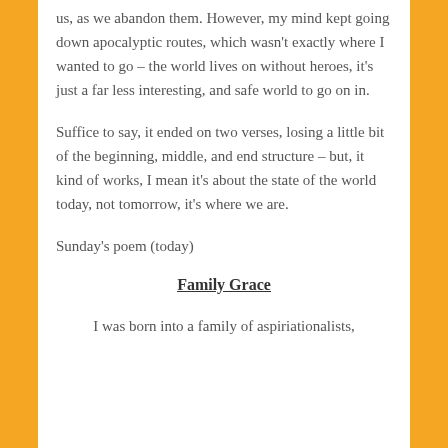us, as we abandon them. However, my mind kept going down apocalyptic routes, which wasn't exactly where I wanted to go – the world lives on without heroes, it's just a far less interesting, and safe world to go on in.
Suffice to say, it ended on two verses, losing a little bit of the beginning, middle, and end structure – but, it kind of works, I mean it's about the state of the world today, not tomorrow, it's where we are.
Sunday's poem (today)
Family Grace
I was born into a family of aspiriationalists,